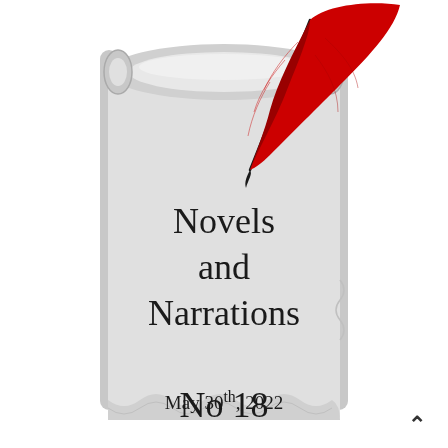[Figure (illustration): A rolled parchment scroll (light gray) with a red quill feather pen resting diagonally across the top-right of the scroll. The scroll is unrolled downward with slightly wavy bottom edges.]
Novels and Narrations No 18
May 30th, 2022